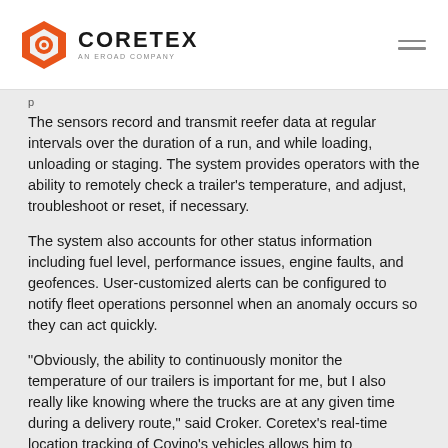CORETEX — AN EROAD COMPANY
p
The sensors record and transmit reefer data at regular intervals over the duration of a run, and while loading, unloading or staging. The system provides operators with the ability to remotely check a trailer's temperature, and adjust, troubleshoot or reset, if necessary.
The system also accounts for other status information including fuel level, performance issues, engine faults, and geofences. User-customized alerts can be configured to notify fleet operations personnel when an anomaly occurs so they can act quickly.
“Obviously, the ability to continuously monitor the temperature of our trailers is important for me, but I also really like knowing where the trucks are at any given time during a delivery route,” said Croker. Coretex’s real-time location tracking of Covino’s vehicles allows him to